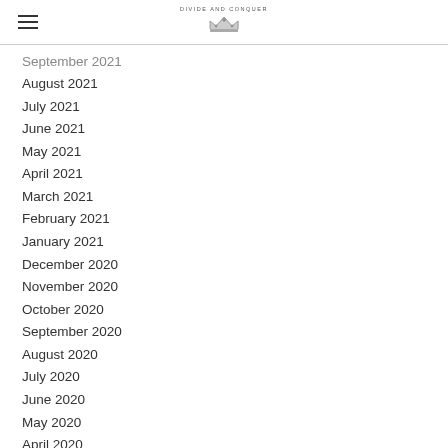DIVIDE AND CONQUER
September 2021
August 2021
July 2021
June 2021
May 2021
April 2021
March 2021
February 2021
January 2021
December 2020
November 2020
October 2020
September 2020
August 2020
July 2020
June 2020
May 2020
April 2020